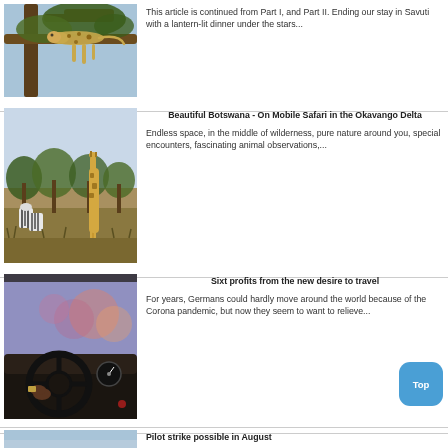[Figure (photo): Leopard resting on a tree branch against a blue sky background]
This article is continued from Part I, and Part II. Ending our stay in Savuti with a lantern-lit dinner under the stars...
[Figure (photo): Safari scene with giraffe and zebras in the Okavango Delta wilderness]
Beautiful Botswana - On Mobile Safari in the Okavango Delta
Endless space, in the middle of wilderness, pure nature around you, special encounters, fascinating animal observations,...
[Figure (photo): Driver's perspective inside a car at dusk with hands on steering wheel]
Sixt profits from the new desire to travel
For years, Germans could hardly move around the world because of the Corona pandemic, but now they seem to want to relieve...
[Figure (photo): Aerial or wide shot with sky, partial article image visible at bottom]
Pilot strike possible in August